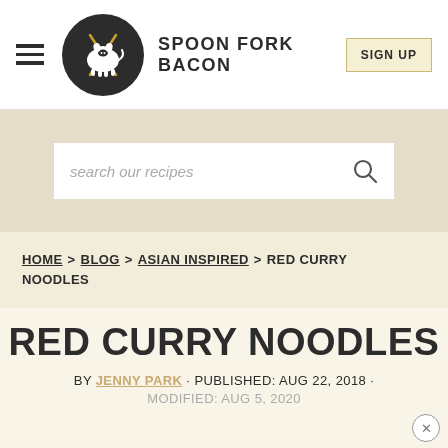SPOON FORK BACON — SIGN UP
search our recipes
HOME > BLOG > ASIAN INSPIRED > RED CURRY NOODLES
RED CURRY NOODLES
BY JENNY PARK · PUBLISHED: AUG 22, 2018 · MODIFIED: AUG 5, 2020